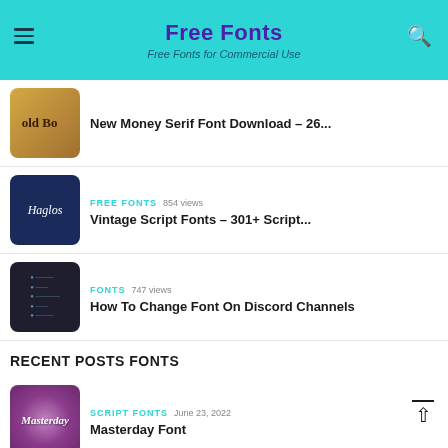Free Fonts — Free Fonts for Commercial Use
New Money Serif Font Download – 26...
FREE FONTS  854 views
Vintage Script Fonts – 301+ Script...
FONTS  747 views
How To Change Font On Discord Channels
RECENT POSTS FONTS
SCRIPT FONTS  June 23, 2022
Masterday Font